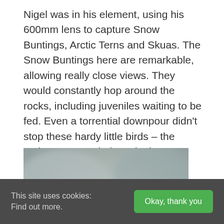Nigel was in his element, using his 600mm lens to capture Snow Buntings, Arctic Terns and Skuas. The Snow Buntings here are remarkable, allowing really close views. They would constantly hop around the rocks, including juveniles waiting to be fed. Even a torrential downpour didn't stop these hardy little birds – the males even carried on singing!
[Figure (photo): A close-up photograph of a Snow Bunting bird, small white fluffy bird facing the camera, perched on a rock, with a blurred grey-green background.]
This site uses cookies: Find out more.